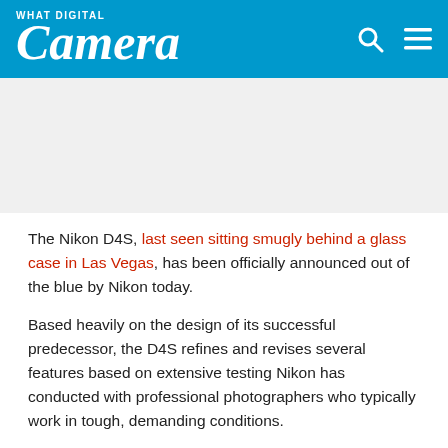What Digital Camera
The Nikon D4S, last seen sitting smugly behind a glass case in Las Vegas, has been officially announced out of the blue by Nikon today.
Based heavily on the design of its successful predecessor, the D4S refines and revises several features based on extensive testing Nikon has conducted with professional photographers who typically work in tough, demanding conditions.
The D4S features refined AF algorithms which Nikon says will result in faster AF initialisation as well as improved acquisition